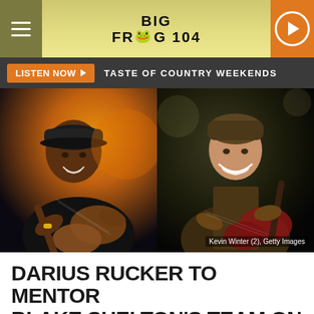Big Frog 104
LISTEN NOW  TASTE OF COUNTRY WEEKENDS
[Figure (photo): Side-by-side photos of two male country musicians playing guitar on stage. Left: Darius Rucker in a black t-shirt with a baseball cap playing acoustic guitar, lit with warm orange stage lighting. Right: Blake Shelton in a brown jacket laughing while playing electric guitar. Credit: Kevin Winter (2), Getty Images]
Kevin Winter (2), Getty Images
DARIUS RUCKER TO MENTOR BLAKE SHELTON'S TEAM ON 'THE